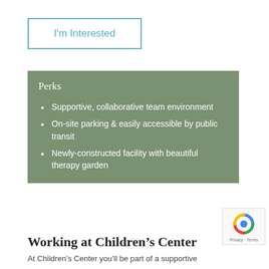I'm Interested
Perks
Supportive, collaborative team environment
On-site parking & easily accessible by public transit
Newly-constructed facility with beautiful therapy garden
Working at Children's Center
At Children's Center you'll be part of a supportive